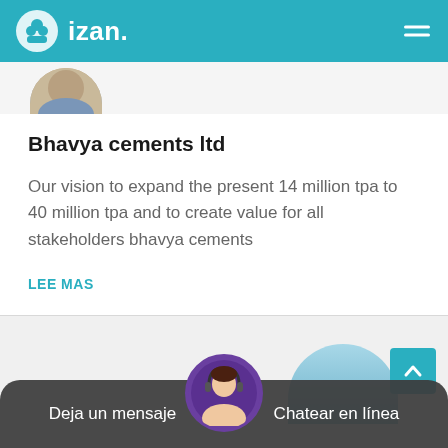izan.
Bhavya cements ltd
Our vision to expand the present 14 million tpa to 40 million tpa and to create value for all stakeholders bhavya cements
LEE MAS
Deja un mensaje  |  Chatear en línea